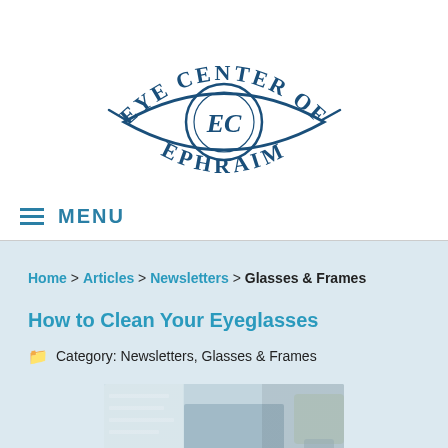[Figure (logo): Eye Center of Ephraim logo — circular eye shape with 'EC' monogram in the center, text 'EYE CENTER OF' arcing above and 'EPHRAIM' below, in dark teal/navy blue]
≡ MENU
Home > Articles > Newsletters > Glasses & Frames
How to Clean Your Eyeglasses
🗂 Category: Newsletters, Glasses & Frames
[Figure (photo): Photo of eyeglasses being cleaned on a white surface, with a small plant and coffee cup in the background]